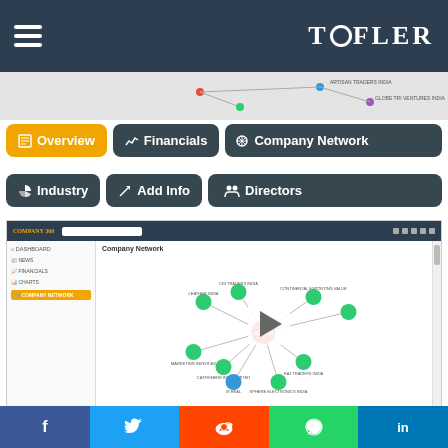TOFLER
[Figure (screenshot): Screenshot of Tofler company network interface showing Company Network diagram with nodes and a play button overlay, sidebar with Dashboard, News, Financials, Charts, Company Network menu items]
Overview | Financials | Company Network | Industry | Add Info | Directors (navigation buttons)
HOW TO USE COMPANY NETWORK OF ARTISAN LEATHERS PRIVATE LIMITED
Tofler Company network is a powerful feature that allows you to explore and discover common directorships between companies. It helps you find out other directorships of an Indian director and also can be used to buy business interests. The
f  (Twitter bird)  (Reddit alien)  (WhatsApp phone)  in